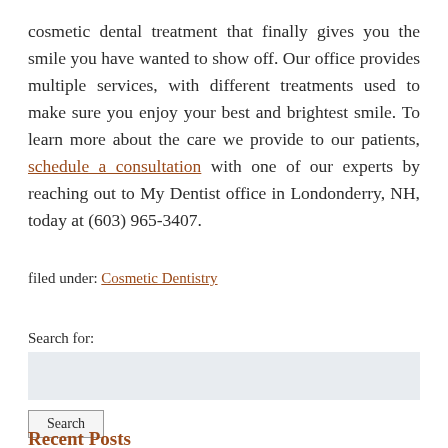cosmetic dental treatment that finally gives you the smile you have wanted to show off. Our office provides multiple services, with different treatments used to make sure you enjoy your best and brightest smile. To learn more about the care we provide to our patients, schedule a consultation with one of our experts by reaching out to My Dentist office in Londonderry, NH, today at (603) 965-3407.
filed under: Cosmetic Dentistry
Search for: